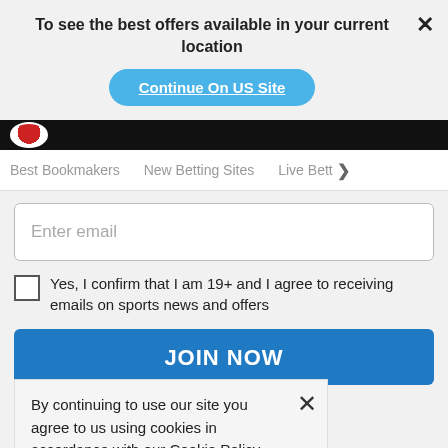To see the best offers available in your current location
Continue On US Site
Best Bookmakers   New Betting Sites   Live Bett >
Enter email
Yes, I confirm that I am 19+ and I agree to receiving emails on sports news and offers
JOIN NOW
By continuing to use our site you agree to us using cookies in accordance with our Cookie Policy.
GOT IT
Most Popular Articles